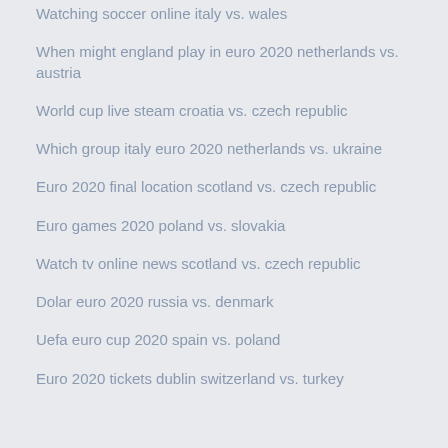Watching soccer online italy vs. wales
When might england play in euro 2020 netherlands vs. austria
World cup live steam croatia vs. czech republic
Which group italy euro 2020 netherlands vs. ukraine
Euro 2020 final location scotland vs. czech republic
Euro games 2020 poland vs. slovakia
Watch tv online news scotland vs. czech republic
Dolar euro 2020 russia vs. denmark
Uefa euro cup 2020 spain vs. poland
Euro 2020 tickets dublin switzerland vs. turkey